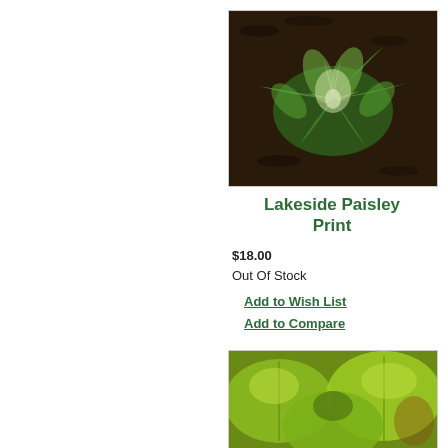[Figure (photo): Hosta plant with green and white variegated leaves growing in dark mulch, viewed from above]
Lakeside Paisley Print
$18.00
Out Of Stock
Add to Wish List
Add to Compare
[Figure (photo): Hosta plant with large bright yellow-green leaves, close-up view]